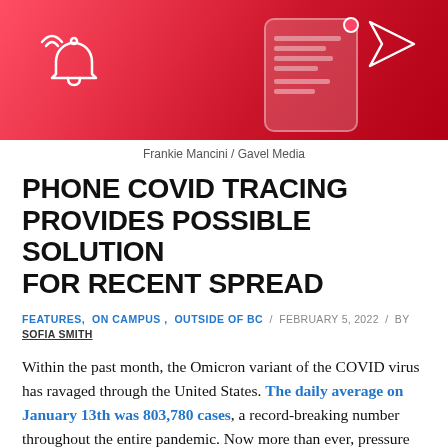[Figure (photo): Red-toned header image with a phone/notification theme, showing a bell notification icon on the left and a phone shape in the center-right against a red gradient background. An arrow icon appears top-right.]
Frankie Mancini / Gavel Media
PHONE COVID TRACING PROVIDES POSSIBLE SOLUTION FOR RECENT SPREAD
FEATURES, ON CAMPUS , OUTSIDE OF BC  /  FEBRUARY 5, 2022  /  BY  SOFIA SMITH
Within the past month, the Omicron variant of the COVID virus has ravaged through the United States. The daily average on January 13th was 803,780 cases, a record-breaking number throughout the entire pandemic. Now more than ever, pressure has been placed on contact tracing